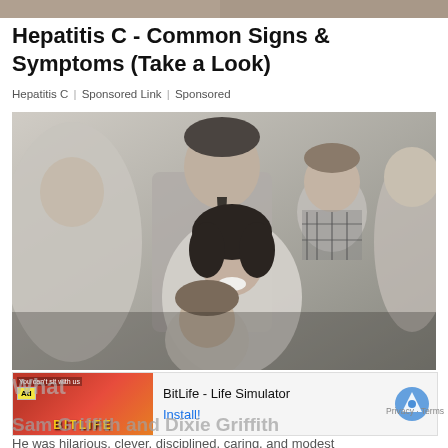[Figure (photo): Cropped top strip of a photo visible at top of page]
Hepatitis C - Common Signs & Symptoms (Take a Look)
Hepatitis C | Sponsored Link | Sponsored
[Figure (photo): Black and white family portrait photo showing a man in a suit, a woman with dark curly hair, a young boy in a plaid shirt, and a young girl smiling in foreground]
[Figure (screenshot): Advertisement banner: BitLife - Life Simulator app ad with Install button and reCAPTCHA icon]
What
Sam Griffith and Dixie Griffith
He was hilarious, clever, disciplined, caring, and modest